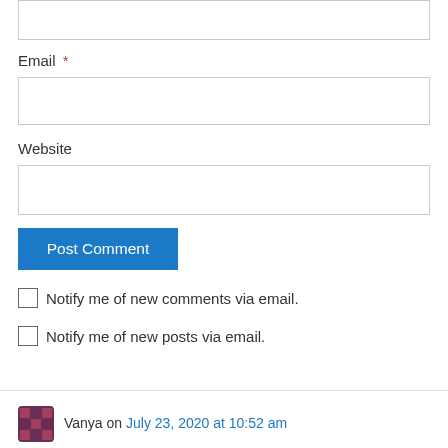Email *
Website
Post Comment
Notify me of new comments via email.
Notify me of new posts via email.
Vanya on July 23, 2020 at 10:52 am